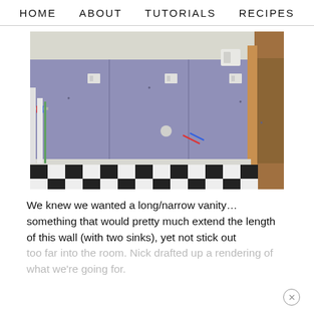HOME   ABOUT   TUTORIALS   RECIPES
[Figure (photo): Bathroom under construction showing a blue/purple drywall wall with plumbing stubs and electrical boxes, and a black-and-white checkered tile floor. A doorway with wood trim is visible on the right.]
We knew we wanted a long/narrow vanity… something that would pretty much extend the length of this wall (with two sinks), yet not stick out too far into the room. Nick drafted up a rendering of what we're going for.